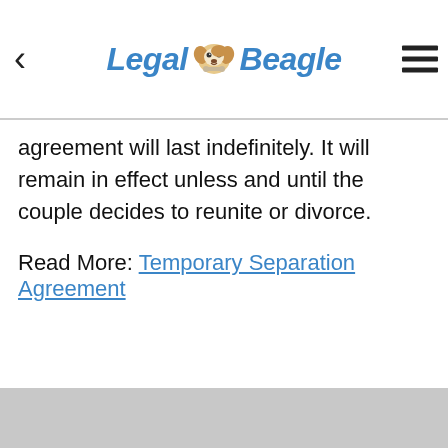Legal Beagle
agreement will last indefinitely. It will remain in effect unless and until the couple decides to reunite or divorce.
Read More: Temporary Separation Agreement